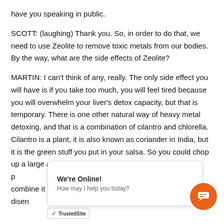have you speaking in public.
SCOTT: (laughing) Thank you. So, in order to do that, we need to use Zeolite to remove toxic metals from our bodies. By the way, what are the side effects of Zeolite?
MARTIN: I can't think of any, really. The only side effect you will have is if you take too much, you will feel tired because you will overwhelm your liver's detox capacity, but that is temporary. There is one other natural way of heavy metal detoxing, and that is a combination of cilantro and chlorella. Cilantro is a plant, it is also known as coriander in India, but it is the green stuff you put in your salsa. So you could chop up a large amount, or you could even make cilantro p[...] need combine it with chlor[...] disengage heavy metals from where they are hiding,